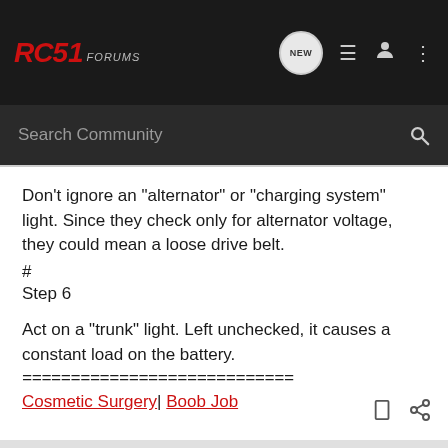RC51 FORUMS
Don't ignore an "alternator" or "charging system" light. Since they check only for alternator voltage, they could mean a loose drive belt.
#
Step 6
Act on a "trunk" light. Left unchecked, it causes a constant load on the battery.
============================
Cosmetic Surgery| Boob Job